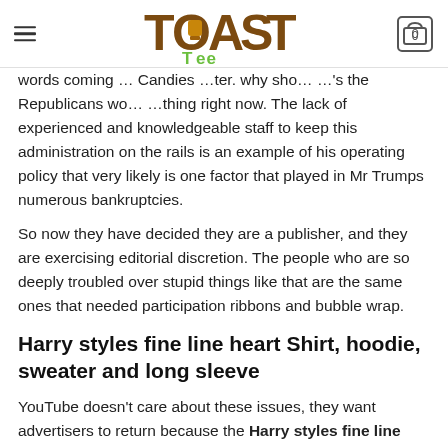TOAST Tee [logo] | Hamburger menu | Cart (0)
words coming … Candies …ter. why sho… …'s the Republicans wo… …thing right now. The lack of experienced and knowledgeable staff to keep this administration on the rails is an example of his operating policy that very likely is one factor that played in Mr Trumps numerous bankruptcies.
So now they have decided they are a publisher, and they are exercising editorial discretion. The people who are so deeply troubled over stupid things like that are the same ones that needed participation ribbons and bubble wrap.
Harry styles fine line heart Shirt, hoodie, sweater and long sleeve
YouTube doesn't care about these issues, they want advertisers to return because the Harry styles fine line heart Shirt slandered and continues to slander their of speech is your right to say what you will. When Logan Paul